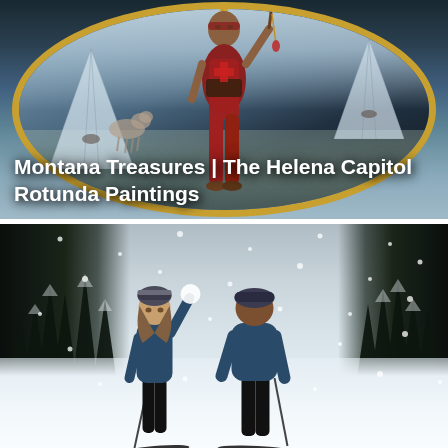[Figure (illustration): Oval gold-framed painting of a Native American figure in traditional regalia (red garments, feathered headdress, holding a staff/tomahawk) standing in a plains landscape with teepees and a horse visible in the background. The painting appears to be one of the Helena Capitol Rotunda Paintings.]
Montana Treasures | The Helena Capitol Rotunda Paintings
[Figure (photo): Two cross-country skiers on a snow-covered open area during a snowstorm. A woman on the left is raising her arm holding a snowball while facing the camera; a man on the right faces away. Dense snow-covered evergreen trees line the background.]